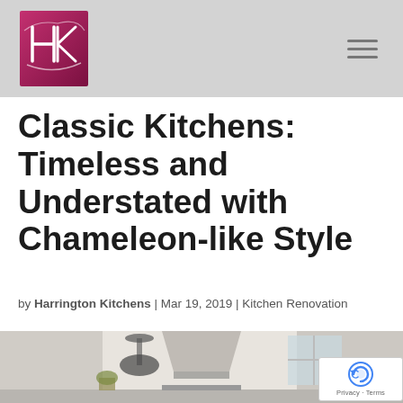Harrington Kitchens logo and navigation
Classic Kitchens: Timeless and Understated with Chameleon-like Style
by Harrington Kitchens | Mar 19, 2019 | Kitchen Renovation
[Figure (photo): Interior photo of a classic white kitchen with pendant lights, stainless steel range hood, and white cabinetry]
[Figure (logo): reCAPTCHA privacy badge overlay in bottom right corner]